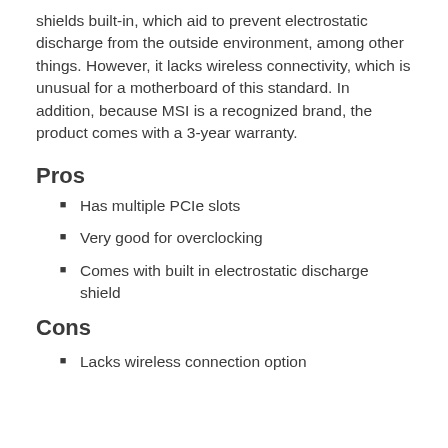shields built-in, which aid to prevent electrostatic discharge from the outside environment, among other things. However, it lacks wireless connectivity, which is unusual for a motherboard of this standard. In addition, because MSI is a recognized brand, the product comes with a 3-year warranty.
Pros
Has multiple PCIe slots
Very good for overclocking
Comes with built in electrostatic discharge shield
Cons
Lacks wireless connection option